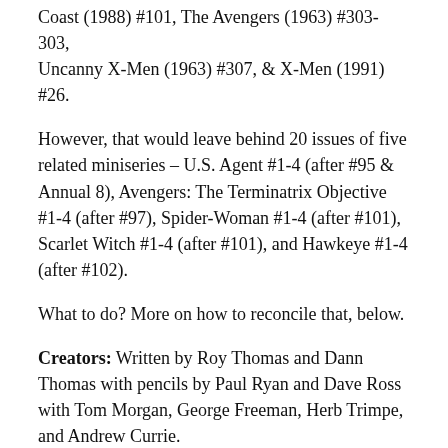Coast (1988) #101, The Avengers (1963) #303-303, Uncanny X-Men (1963) #307, & X-Men (1991) #26.
However, that would leave behind 20 issues of five related miniseries – U.S. Agent #1-4 (after #95 & Annual 8), Avengers: The Terminatrix Objective #1-4 (after #97), Spider-Woman #1-4 (after #101), Scarlet Witch #1-4 (after #101), and Hawkeye #1-4 (after #102).
What to do? More on how to reconcile that, below.
Creators: Written by Roy Thomas and Dann Thomas with pencils by Paul Ryan and Dave Ross with Tom Morgan, George Freeman, Herb Trimpe, and Andrew Currie.
Can you read it right now? Mostly. Issue #76-79 and #83-88 remain uncollected (as is the U.S. Agent mini-series), but everything else has been captured. Visit Guide to Avengers West Coast for the full details. Unfortunately, most of this run is not on Marvel